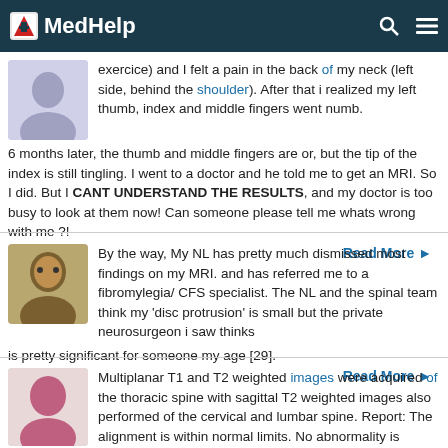MedHelp
exercice) and I felt a pain in the back of my neck (left side, behind the shoulder). After that i realized my left thumb, index and middle fingers went numb. 6 months later, the thumb and middle fingers are or, but the tip of the index is still tingling. I went to a doctor and he told me to get an MRI. So I did. But I CANT UNDERSTAND THE RESULTS, and my doctor is too busy to look at them now! Can someone please tell me whats wrong with me ?!
Read More
By the way, My NL has pretty much dismissed most findings on my MRI. and has referred me to a fibromylegia/ CFS specialist. The NL and the spinal team think my 'disc protrusion' is small but the private neurosurgeon i saw thinks is pretty significant for someone my age [29].
Read More
Multiplanar T1 and T2 weighted images were acquired of the thoracic spine with sagittal T2 weighted images also performed of the cervical and lumbar spine. Report: The alignment is within normal limits. No abnormality is demonstrated in the marrow. Minor loss of signal intensity is seen in